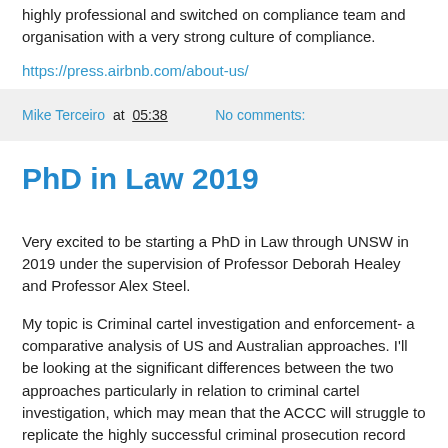highly professional and switched on compliance team and organisation with a very strong culture of compliance.
https://press.airbnb.com/about-us/
Mike Terceiro at 05:38   No comments:
PhD in Law 2019
Very excited to be starting a PhD in Law through UNSW in 2019 under the supervision of Professor Deborah Healey and Professor Alex Steel.
My topic is Criminal cartel investigation and enforcement- a comparative analysis of US and Australian approaches. I'll be looking at the significant differences between the two approaches particularly in relation to criminal cartel investigation, which may mean that the ACCC will struggle to replicate the highly successful criminal prosecution record achieved by the Antitrust Division of the